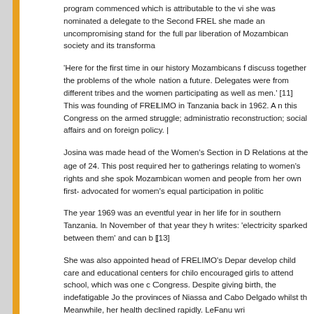program commenced which is attributable to the vi... she was nominated a delegate to the Second FREL... she made an uncompromising stand for the full par... liberation of Mozambican society and its transforma...
'Here for the first time in our history Mozambicans f... discuss together the problems of the whole nation a... future. Delegates were from different tribes and the... women participating as well as men.' [11] This was ... founding of FRELIMO in Tanzania back in 1962. A n... this Congress on the armed struggle; administratio... reconstruction; social affairs and on foreign policy. |
Josina was made head of the Women's Section in R... Relations at the age of 24. This post required her to... gatherings relating to women's rights and she spok... Mozambican women and people from her own first-... advocated for women's equal participation in politic...
The year 1969 was an eventful year in her life for i... southern Tanzania. In November of that year they h... writes: 'electricity sparked between them' and can b... [13]
She was also appointed head of FRELIMO's Depar... develop child care and educational centers for chilo... encouraged girls to attend school, which was one c... Congress. Despite giving birth, the indefatigable Jo... the provinces of Niassa and Cabo Delgado whilst th... Meanwhile, her health declined rapidly. LeFanu wri...